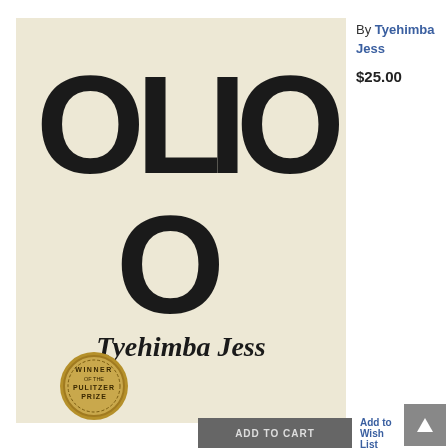[Figure (photo): Book cover of 'Olio' by Tyehimba Jess. Cream/off-white background with large bold black letters spelling OLIO (O-L-I-O on top row, O on second row). Author name 'Tyehimba Jess' in cursive/script at bottom. Gold circular seal in lower left reading 'WINNER OF THE PULITZER PRIZE'.]
By Tyehimba Jess
$25.00
ADD TO CART
Add to Wish List